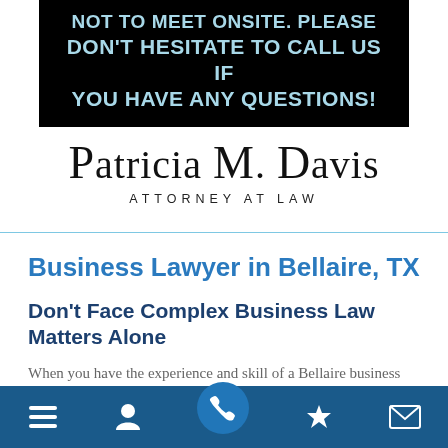[Figure (other): Black banner with light blue uppercase bold text reading: NOT TO MEET ONSITE. PLEASE DON'T HESITATE TO CALL US IF YOU HAVE ANY QUESTIONS!]
[Figure (logo): Patricia M. Davis Attorney at Law logo in serif font]
Business Lawyer in Bellaire, TX
Don't Face Complex Business Law Matters Alone
When you have the experience and skill of a Bellaire business attorney on your side, negotiations are swifter, transactions are smoother, and the outcome is usually far more favorable, enhancing the prosperity and growth of
Navigation bar with menu, person, phone, star, and envelope icons